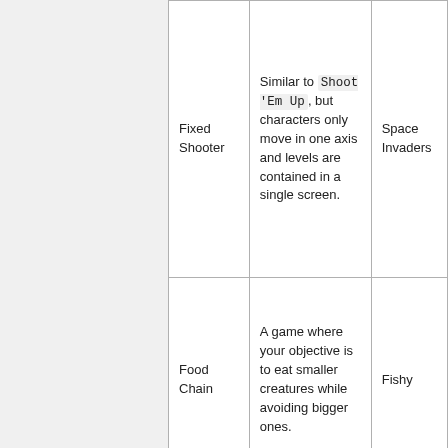| Fixed Shooter | Similar to Shoot 'Em Up , but characters only move in one axis and levels are contained in a single screen. | Space Invaders |
| Food Chain | A game where your objective is to eat smaller creatures while avoiding bigger ones. | Fishy |
|  | A game where numbers go up while you're | Progress |